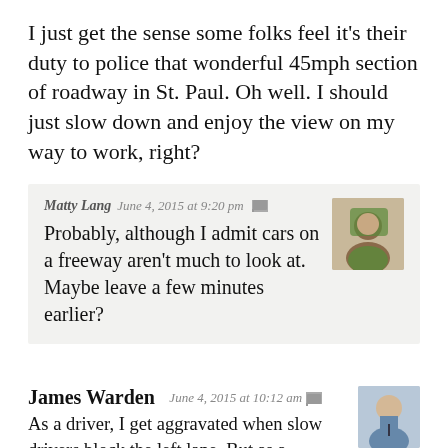I just get the sense some folks feel it's their duty to police that wonderful 45mph section of roadway in St. Paul. Oh well. I should just slow down and enjoy the view on my way to work, right?
Matty Lang  June 4, 2015 at 9:20 pm
Probably, although I admit cars on a freeway aren't much to look at. Maybe leave a few minutes earlier?
James Warden  June 4, 2015 at 10:12 am
As a driver, I get aggravated when slow drivers block the left lane. But as a